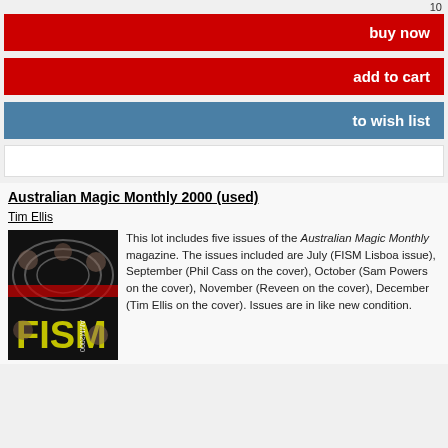10
buy now
add to cart
to wish list
Australian Magic Monthly 2000 (used)
Tim Ellis
[Figure (photo): Cover of Australian Magic Monthly 2000 magazine showing FISM 2000 design with faces and psychedelic background]
This lot includes five issues of the Australian Magic Monthly magazine. The issues included are July (FISM Lisboa issue), September (Phil Cass on the cover), October (Sam Powers on the cover), November (Reveen on the cover), December (Tim Ellis on the cover). Issues are in like new condition.